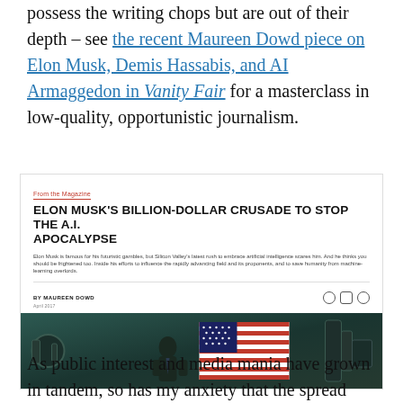possess the writing chops but are out of their depth – see the recent Maureen Dowd piece on Elon Musk, Demis Hassabis, and AI Armaggedon in Vanity Fair for a masterclass in low-quality, opportunistic journalism.
[Figure (screenshot): Screenshot of a Vanity Fair article titled 'ELON MUSK'S BILLION-DOLLAR CRUSADE TO STOP THE A.I. APOCALYPSE' by Maureen Dowd, with a photo of Elon Musk standing in front of an American flag in a dark industrial setting.]
As public interest and media mania have grown in tandem, so has my anxiety that the spread